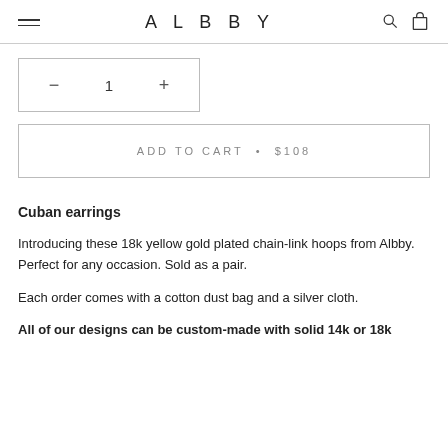ALBBY
− 1 +
ADD TO CART • $108
Cuban earrings
Introducing these 18k yellow gold plated chain-link hoops from Albby. Perfect for any occasion. Sold as a pair.
Each order comes with a cotton dust bag and a silver cloth.
All of our designs can be custom-made with solid 14k or 18k